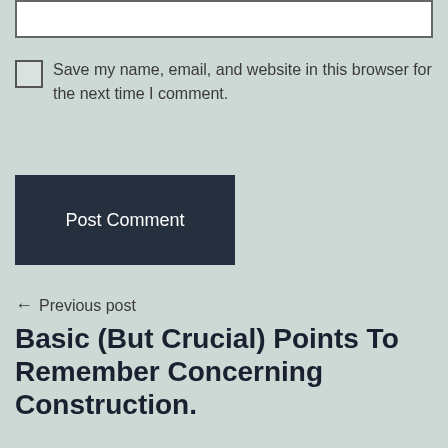Save my name, email, and website in this browser for the next time I comment.
Post Comment
← Previous post
Basic (But Crucial) Points To Remember Concerning Construction.